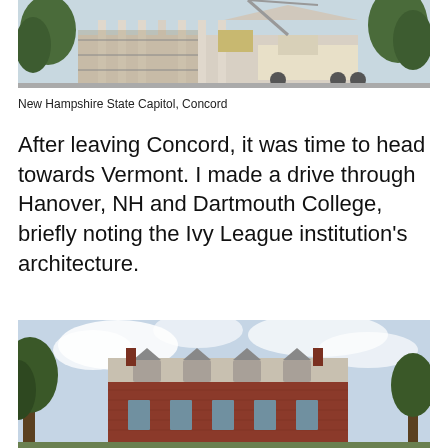[Figure (photo): New Hampshire State Capitol building under construction with a crane truck visible in front, columns and trees visible]
New Hampshire State Capitol, Concord
After leaving Concord, it was time to head towards Vermont. I made a drive through Hanover, NH and Dartmouth College, briefly noting the Ivy League institution's architecture.
[Figure (photo): Dartmouth College building, a red brick structure with dormer windows and chimneys under a partly cloudy sky with trees visible]